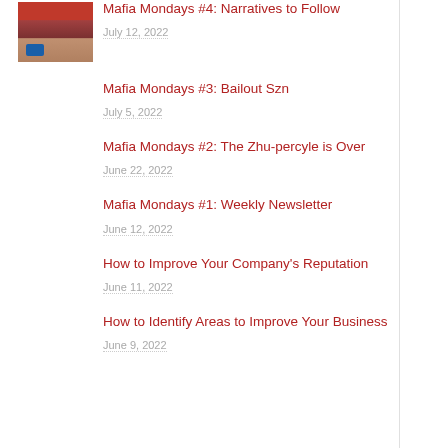Mafia Mondays #4: Narratives to Follow
July 12, 2022
Mafia Mondays #3: Bailout Szn
July 5, 2022
Mafia Mondays #2: The Zhu-percyle is Over
June 22, 2022
Mafia Mondays #1: Weekly Newsletter
June 12, 2022
How to Improve Your Company's Reputation
June 11, 2022
How to Identify Areas to Improve Your Business
June 9, 2022